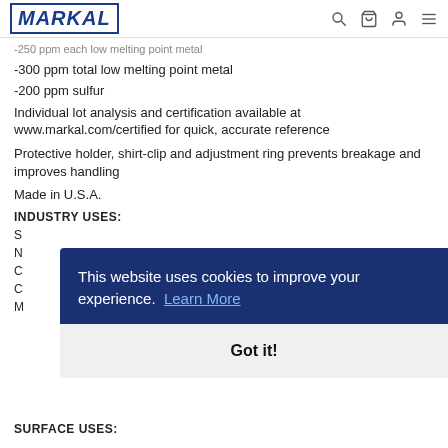MARKAL
-250 ppm each low melting point metal
-300 ppm total low melting point metal
-200 ppm sulfur
Individual lot analysis and certification available at www.markal.com/certified for quick, accurate reference
Protective holder, shirt-clip and adjustment ring prevents breakage and improves handling
Made in U.S.A.
INDUSTRY USES:
This website uses cookies to improve your experience.  Learn More
Got it!
SURFACE USES: